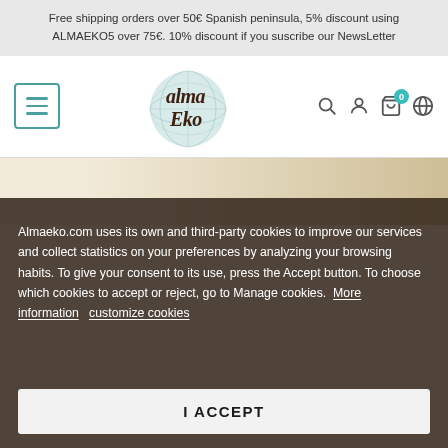Free shipping orders over 50€ Spanish peninsula, 5% discount using ALMAEKO5 over 75€. 10% discount if you suscribe our NewsLetter
[Figure (logo): Alma Eko logo with globe watercolor and handwritten text]
Almaeko.com uses its own and third-party cookies to improve our services and collect statistics on your preferences by analyzing your browsing habits. To give your consent to its use, press the Accept button. To choose which cookies to accept or reject, go to Manage cookies.  More information  customize cookies
I ACCEPT